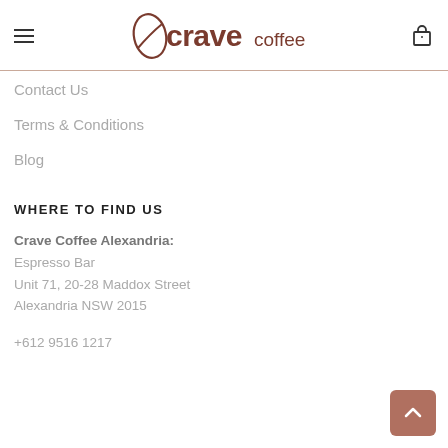Crave Coffee
Contact Us
Terms & Conditions
Blog
WHERE TO FIND US
Crave Coffee Alexandria:
Espresso Bar
Unit 71, 20-28 Maddox Street
Alexandria NSW 2015
+612 9516 1217